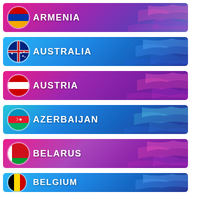[Figure (infographic): Country banner for Armenia with flag circle and text on gradient pink-purple background]
[Figure (infographic): Country banner for Australia with flag circle and text on gradient blue-cyan background]
[Figure (infographic): Country banner for Austria with flag circle and text on gradient pink-purple background]
[Figure (infographic): Country banner for Azerbaijan with flag circle and text on gradient blue-teal background]
[Figure (infographic): Country banner for Belarus with flag circle and text on gradient pink-purple background]
[Figure (infographic): Country banner for Belgium with flag circle and text on gradient blue-cyan background (partially visible)]